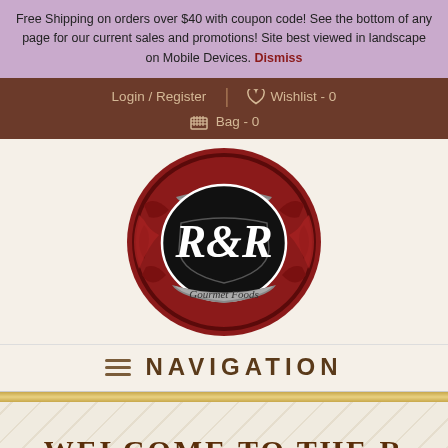Free Shipping on orders over $40 with coupon code! See the bottom of any page for our current sales and promotions! Site best viewed in landscape on Mobile Devices. Dismiss
Login / Register | Wishlist - 0
Bag - 0
[Figure (logo): Rae & Ryan's Gourmet Foods circular logo with red and black decorative design featuring R&R monogram]
NAVIGATION
WELCOME TO THE R